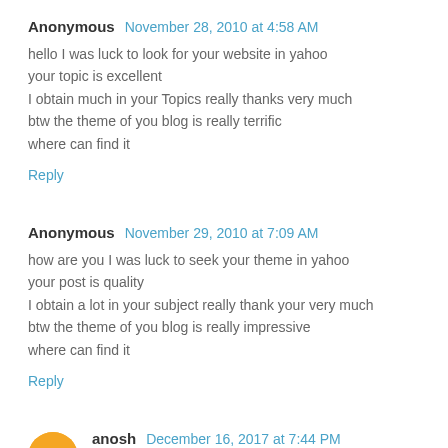Anonymous  November 28, 2010 at 4:58 AM
hello I was luck to look for your website in yahoo
your topic is excellent
I obtain much in your Topics really thanks very much
btw the theme of you blog is really terrific
where can find it
Reply
Anonymous  November 29, 2010 at 7:09 AM
how are you I was luck to seek your theme in yahoo
your post is quality
I obtain a lot in your subject really thank your very much
btw the theme of you blog is really impressive
where can find it
Reply
anosh  December 16, 2017 at 7:44 PM
Surface Insulation Company